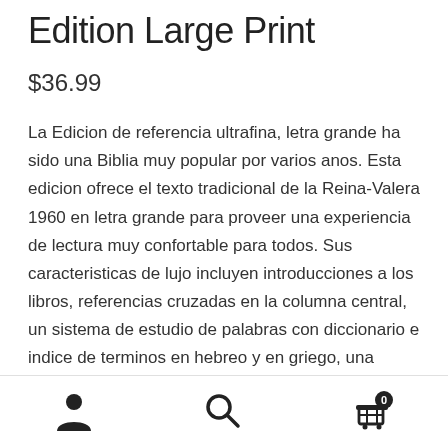Edition Large Print
$36.99
La Edicion de referencia ultrafina, letra grande ha sido una Biblia muy popular por varios anos. Esta edicion ofrece el texto tradicional de la Reina-Valera 1960 en letra grande para proveer una experiencia de lectura muy confortable para todos. Sus caracteristicas de lujo incluyen introducciones a los libros, referencias cruzadas en la columna central, un sistema de estudio de palabras con diccionario e indice de terminos en hebreo y en griego, una concordancia, mapas a todo color, las palabras de Cristo en rojo, una cinta marcadora, cantos dorados y una pagina
Navigation bar with person, search, and cart icons